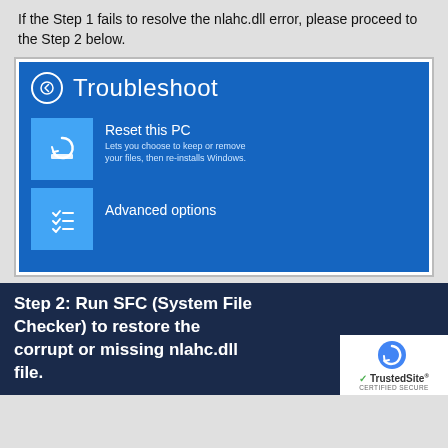If the Step 1 fails to resolve the nlahc.dll error, please proceed to the Step 2 below.
[Figure (screenshot): Windows Troubleshoot screen showing 'Reset this PC' and 'Advanced options' menu items on a blue background]
Step 2: Run SFC (System File Checker) to restore the corrupt or missing nlahc.dll file.
[Figure (logo): TrustedSite CERTIFIED SECURE badge with reCAPTCHA logo]